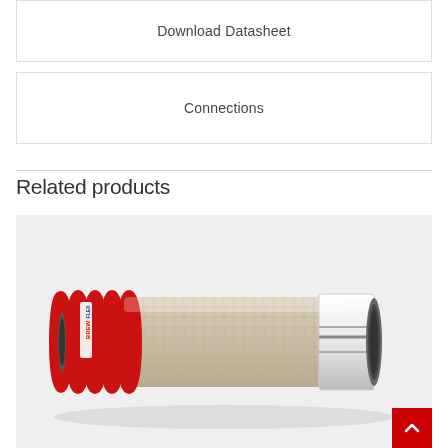Download Datasheet
Connections
Related products
[Figure (photo): A BREWFLEX branded industrial hose coiled at one end with red rubber rings and mesh reinforcement, showing the hollow grey interior at the open right end.]